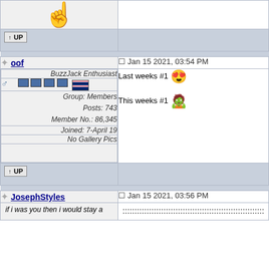[Figure (illustration): Yellow pointing finger emoji]
[Figure (illustration): Up arrow and UP button action bar]
oof — Jan 15 2021, 03:54 PM
BuzzJack Enthusiast
Group: Members
Posts: 743
Member No.: 86,345
Joined: 7-April 19
No Gallery Pics
Last weeks #1 [emoji] This weeks #1 [emoji]
[Figure (illustration): Up arrow and UP button action bar]
JosephStyles — Jan 15 2021, 03:56 PM
if i was you then i would stay a